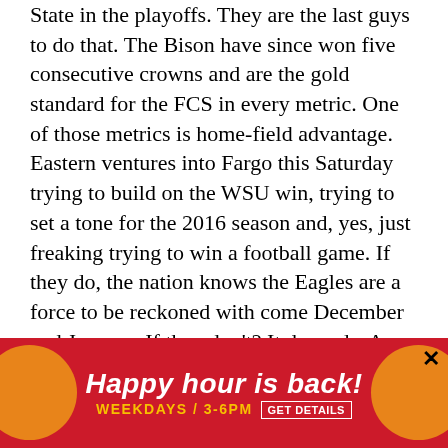State in the playoffs. They are the last guys to do that. The Bison have since won five consecutive crowns and are the gold standard for the FCS in every metric. One of those metrics is home-field advantage. Eastern ventures into Fargo this Saturday trying to build on the WSU win, trying to set a tone for the 2016 season and, yes, just freaking trying to win a football game. If they do, the nation knows the Eagles are a force to be reckoned with come December and January. If they don't? It depends. A close loss leaves a different impression – and teaches different lessons – than a USC-versus-Alabama-type defeat. No matter what, last week was a nothing-to-lose game. This week is more of a measuring stick one.
• Idaho travels the next two weeks to Pac-12 ve[nues]... This w[eek]... week the O[regon]...
[Figure (other): Advertisement banner: 'Happy hour is back! WEEKDAYS / 3-6PM GET DETAILS' with orange circular decorations on red background]